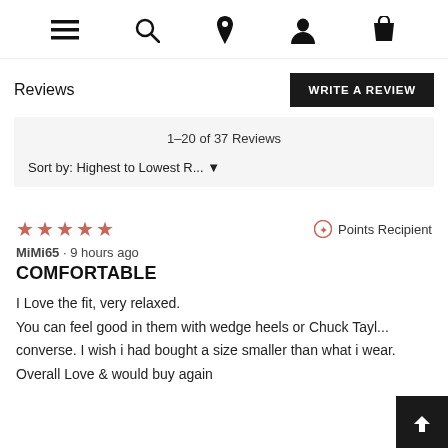[navigation icons: hamburger menu, search, location pin, person, shopping bag]
Reviews
WRITE A REVIEW
1–20 of 37 Reviews
Sort by: Highest to Lowest R...
★★★★★  Points Recipient
MiMi65 · 9 hours ago
COMFORTABLE
I Love the fit, very relaxed. You can feel good in them with wedge heels or Chuck Tayl... converse. I wish i had bought a size smaller than what i wear. Overall Love & would buy again